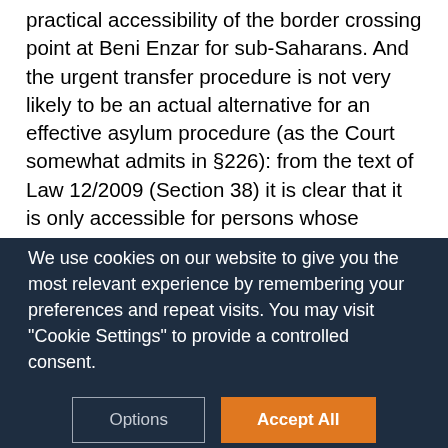practical accessibility of the border crossing point at Beni Enzar for sub-Saharans. And the urgent transfer procedure is not very likely to be an actual alternative for an effective asylum procedure (as the Court somewhat admits in §226): from the text of Law 12/2009 (Section 38) it is clear that it is only accessible for persons whose physical integrity is at risk – thus adding an extra condition to the refugee definition or Art. 3 – and does not apply to nationals of the location of the embassy – thus demanding persons at risk to first cross an international border. Consequently this procedure is not
We use cookies on our website to give you the most relevant experience by remembering your preferences and repeat visits. You may visit "Cookie Settings" to provide a controlled consent.